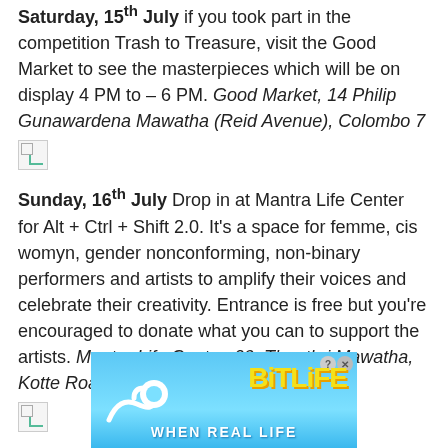Saturday, 15th July if you took part in the competition Trash to Treasure, visit the Good Market to see the masterpieces which will be on display 4 PM to – 6 PM. Good Market, 14 Philip Gunawardena Mawatha (Reid Avenue), Colombo 7
[Figure (other): Broken/missing image placeholder icon]
Sunday, 16th July Drop in at Mantra Life Center for Alt + Ctrl + Shift 2.0. It's a space for femme, cis womyn, gender nonconforming, non-binary performers and artists to amplify their voices and celebrate their creativity. Entrance is free but you're encouraged to donate what you can to support the artists. Mantra Life Center, 09, Thanthri Mawatha, Kotte Road, Ethul Kotte.
[Figure (other): Broken/missing image placeholder icon]
For all events visit KARAMU
[Figure (other): BitLife advertisement banner with sperm logo and text WHEN REAL LIFE]